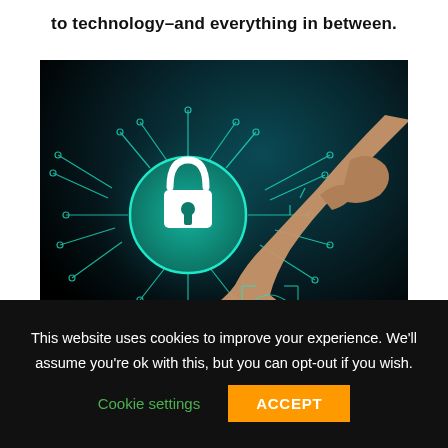to technology–and everything in between.
[Figure (photo): A hand pointing a finger toward a glowing digital padlock icon on a circuit-board pattern, pressing a fingerprint scanner on a dark tablet surface. The image represents cybersecurity and digital authentication.]
This website uses cookies to improve your experience. We'll assume you're ok with this, but you can opt-out if you wish.
Cookie settings
ACCEPT